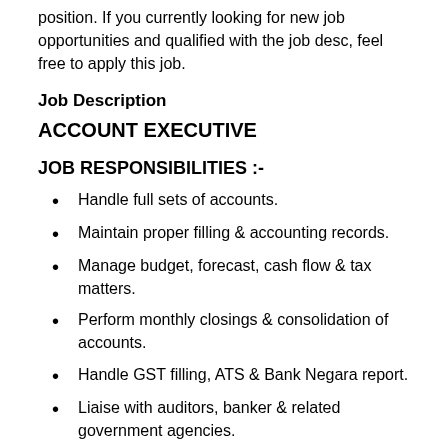position. If you currently looking for new job opportunities and qualified with the job desc, feel free to apply this job.
Job Description
ACCOUNT EXECUTIVE
JOB RESPONSIBILITIES :-
Handle full sets of accounts.
Maintain proper filling & accounting records.
Manage budget, forecast, cash flow & tax matters.
Perform monthly closings & consolidation of accounts.
Handle GST filling, ATS & Bank Negara report.
Liaise with auditors, banker & related government agencies.
Perform other related duties and responsibilities as